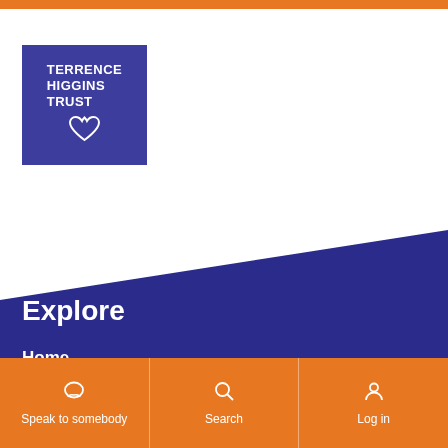Orange top bar
[Figure (logo): Terrence Higgins Trust logo — blue/purple square with white text reading TERRENCE HIGGINS TRUST and a heart outline icon]
Explore
Home
HIV and sexual health
Speak to somebody | Search | Log in